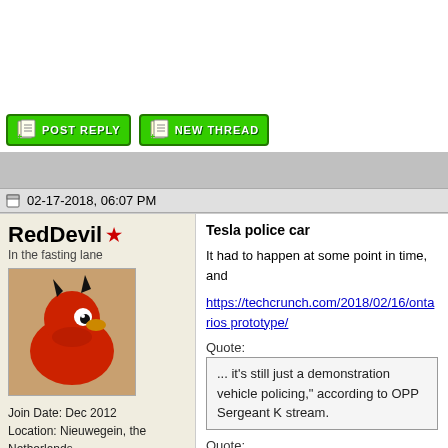[Figure (screenshot): Top white space area of forum page]
[Figure (screenshot): Forum buttons: POST REPLY and NEW THREAD green pixel-art style buttons]
02-17-2018, 06:07 PM
RedDevil★
In the fasting lane
[Figure (photo): Avatar image of a red rubber duck with devil horns]
Join Date: Dec 2012
Location: Nieuwegein, the Netherlands
Posts: 3,991
Red Devil - '11 Honda Insight Elegance
Team Honda
Tesla police car
It had to happen at some point in time, and
https://techcrunch.com/2018/02/16/ontarios prototype/
Quote:
... it's still just a demonstration vehicle policing," according to OPP Sergeant K stream.
Quote:
The Model X used here is actually a "g and "may be what the future of policing